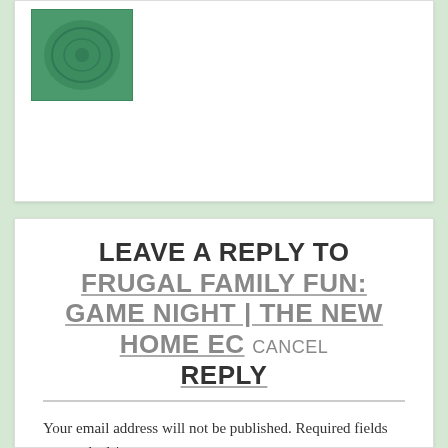[Figure (illustration): Green circular emblem/seal on a green background, partially visible in top-left corner of a white card]
LEAVE A REPLY TO FRUGAL FAMILY FUN: GAME NIGHT | THE NEW HOME EC CANCEL REPLY
Your email address will not be published. Required fields are marked *
Comment